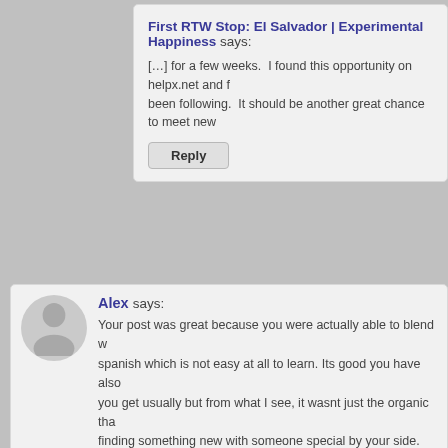First RTW Stop: El Salvador | Experimental Happiness says:
[...] for a few weeks.  I found this opportunity on helpx.net and f been following.  It should be another great chance to meet new
Reply
Alex says:
Your post was great because you were actually able to blend w spanish which is not easy at all to learn. Its good you have also you get usually but from what I see, it wasnt just the organic tha finding something new with someone special by your side. My o
Reply
Dana says:
I'm so glad I stumbled upon this…..I have been looking into this hear a great testimonial about it, it feels right. Any chance you v the nearby towns like?
Reply
Mike Lenzen says:
We mostly stayed in the same village that this farm i